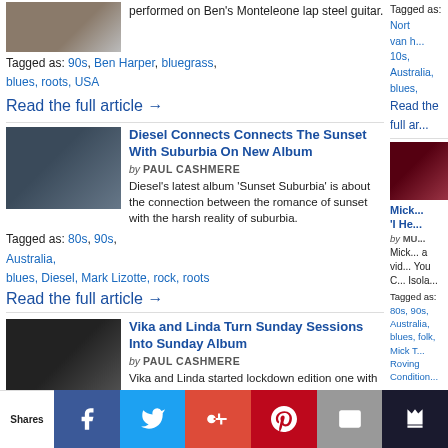performed on Ben's Monteleone lap steel guitar.
Tagged as: 90s, Ben Harper, bluegrass, blues, roots, USA
Read the full article →
Diesel Connects Connects The Sunset With Suburbia On New Album
by PAUL CASHMERE
Diesel's latest album 'Sunset Suburbia' is about the connection between the romance of sunset with the harsh reality of suburbia.
Tagged as: 80s, 90s, Australia, blues, Diesel, Mark Lizotte, rock, roots
Read the full article →
Vika and Linda Turn Sunday Sessions Into Sunday Album
by PAUL CASHMERE
Vika and Linda started lockdown edition one with a weekly Sunday session from home. They are
Tagged as:
Tagged as: Nort van ...
10s, Australia, blues,
Read the full ar...
Mick... 'I He...
by MU...
Mick... a vid... You C... Isola...
Tagged as: 80s, 90s, Australia, blues, folk, Mick T... Roving Condition... Weddings Parties...
Read the full art...
Nils Inbe... Dutie...
by PA...
Nils L...
Shares
[Figure (infographic): Social share buttons: Facebook (blue), Twitter (light blue), Google+ (red), Pinterest (dark red), Email (grey), Crown/bookmark (dark)]